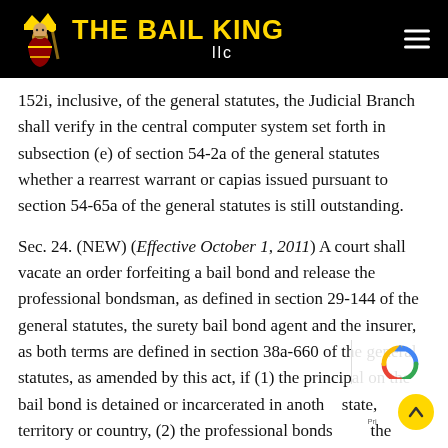THE BAIL KING llc
152i, inclusive, of the general statutes, the Judicial Branch shall verify in the central computer system set forth in subsection (e) of section 54-2a of the general statutes whether a rearrest warrant or capias issued pursuant to section 54-65a of the general statutes is still outstanding.
Sec. 24. (NEW) (Effective October 1, 2011) A court shall vacate an order forfeiting a bail bond and release the professional bondsman, as defined in section 29-144 of the general statutes, the surety bail bond agent and the insurer, as both terms are defined in section 38a-660 of the general statutes, as amended by this act, if (1) the principal on the bail bond is detained or incarcerated in another state, territory or country, (2) the professional bondsman, the surety bail bond agent or the insurer provides pr…